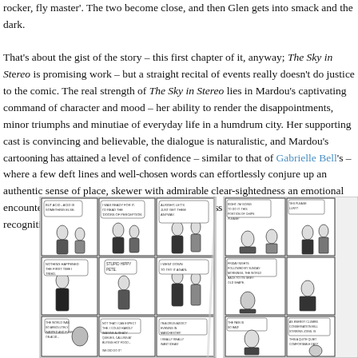rocker, fly master'. The two become close, and then Glen gets into smack and the dark.
That's about the gist of the story – this first chapter of it, anyway; The Sky in Stereo is promising work – but a straight recital of events really doesn't do justice to the comic. The real strength of The Sky in Stereo lies in Mardou's captivating command of character and mood – her ability to render the disappointments, minor triumphs and minutiae of everyday life in a humdrum city. Her supporting cast is convincing and believable, the dialogue is naturalistic, and Mardou's cartooning has attained a level of confidence – similar to that of Gabrielle Bell's – where a few deft lines and well-chosen words can effortlessly conjure up an authentic sense of place, skewer with admirable clear-sightedness an emotional encounter, or depict a moment of supreme silliness and make you laugh in recognition.
[Figure (illustration): Two pages of comic book art from The Sky in Stereo showing black and white comic panels with characters talking and interacting]